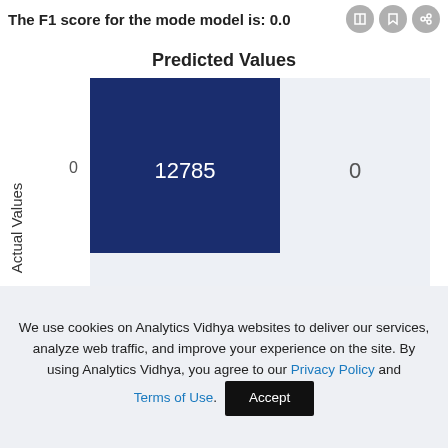The F1 score for the mode model is: 0.0
[Figure (other): Confusion matrix showing Predicted Values (x-axis: 0, 1) vs Actual Values (y-axis: 0, 1). Top-left cell (Actual=0, Predicted=0): 12785 (dark navy blue). Top-right cell (Actual=0, Predicted=1): 0. Bottom-left cell (Actual=1, Predicted=0): 235. Bottom-right cell (Actual=1, Predicted=1): 0.]
We use cookies on Analytics Vidhya websites to deliver our services, analyze web traffic, and improve your experience on the site. By using Analytics Vidhya, you agree to our Privacy Policy and Terms of Use.